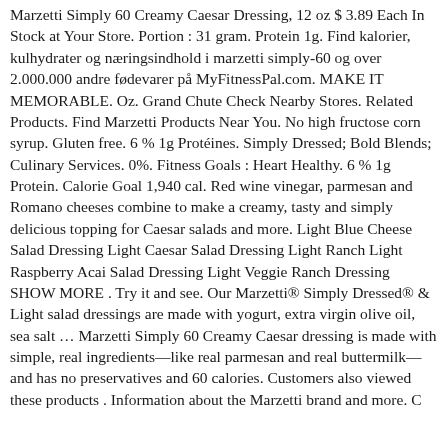Marzetti Simply 60 Creamy Caesar Dressing, 12 oz $ 3.89 Each In Stock at Your Store. Portion : 31 gram. Protein 1g. Find kalorier, kulhydrater og næringsindhold i marzetti simply-60 og over 2.000.000 andre fødevarer på MyFitnessPal.com. MAKE IT MEMORABLE. Oz. Grand Chute Check Nearby Stores. Related Products. Find Marzetti Products Near You. No high fructose corn syrup. Gluten free. 6 % 1g Protéines. Simply Dressed; Bold Blends; Culinary Services. 0%. Fitness Goals : Heart Healthy. 6 % 1g Protein. Calorie Goal 1,940 cal. Red wine vinegar, parmesan and Romano cheeses combine to make a creamy, tasty and simply delicious topping for Caesar salads and more. Light Blue Cheese Salad Dressing Light Caesar Salad Dressing Light Ranch Light Raspberry Acai Salad Dressing Light Veggie Ranch Dressing SHOW MORE . Try it and see. Our Marzetti® Simply Dressed® & Light salad dressings are made with yogurt, extra virgin olive oil, sea salt … Marzetti Simply 60 Creamy Caesar dressing is made with simple, real ingredients—like real parmesan and real buttermilk—and has no preservatives and 60 calories. Customers also viewed these products . Information about the Marzetti brand and more. C...